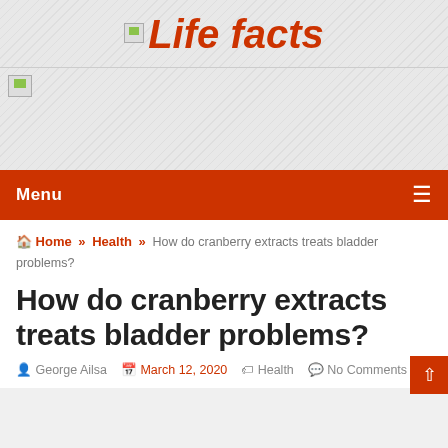Life facts
[Figure (other): Broken image placeholder for banner/advertisement area]
Menu
Home » Health » How do cranberry extracts treats bladder problems?
How do cranberry extracts treats bladder problems?
George Ailsa   March 12, 2020   Health   No Comments